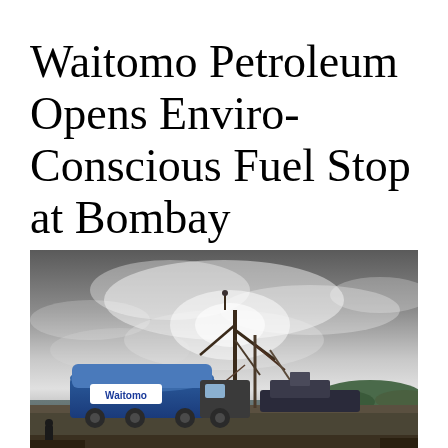Waitomo Petroleum Opens Enviro-Conscious Fuel Stop at Bombay
[Figure (photo): A Waitomo Petroleum fuel tanker truck parked near a dock with fishing vessels and cranes visible against a dramatic cloudy grey sky. Green hills and water visible in the background.]